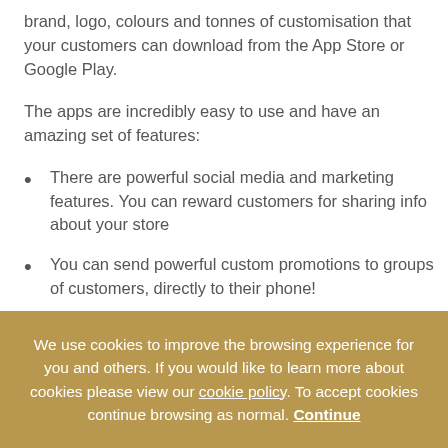brand, logo, colours and tonnes of customisation that your customers can download from the App Store or Google Play.
The apps are incredibly easy to use and have an amazing set of features:
There are powerful social media and marketing features. You can reward customers for sharing info about your store
You can send powerful custom promotions to groups of customers, directly to their phone!
We use cookies to improve the browsing experience for you and others. If you would like to learn more about cookies please view our cookie policy. To accept cookies continue browsing as normal. Continue